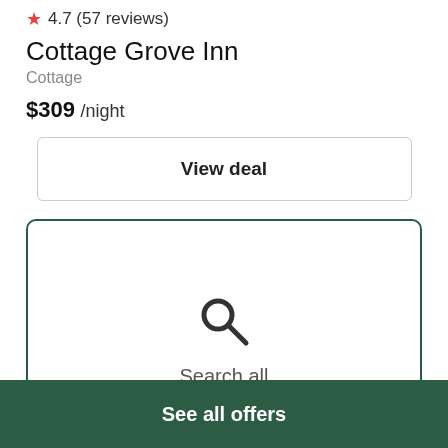★ 4.7 (57 reviews)
Cottage Grove Inn
Cottage
$309 /night
View deal
[Figure (illustration): Search icon (magnifying glass) with 'Search all' label inside a rounded-rectangle bordered box]
See all offers